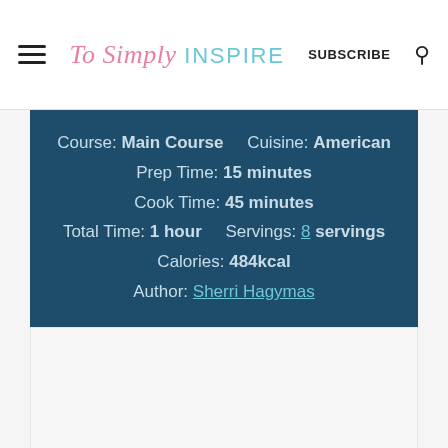To Simply INSPIRE | SUBSCRIBE
Course: Main Course   Cuisine: American
Prep Time: 15 minutes
Cook Time: 45 minutes
Total Time: 1 hour   Servings: 8 servings
Calories: 484kcal
Author: Sherri Hagymas